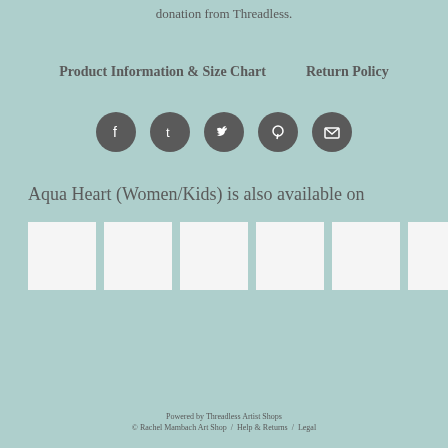donation from Threadless.
Product Information & Size Chart    Return Policy
[Figure (other): Social media share icons: Facebook, Tumblr, Twitter, Pinterest, Email — grey circles with white icons]
Aqua Heart (Women/Kids) is also available on
[Figure (other): Six white square product thumbnail placeholders in a row]
Powered by Threadless Artist Shops
© Rachel Mambach Art Shop / Help & Returns / Legal